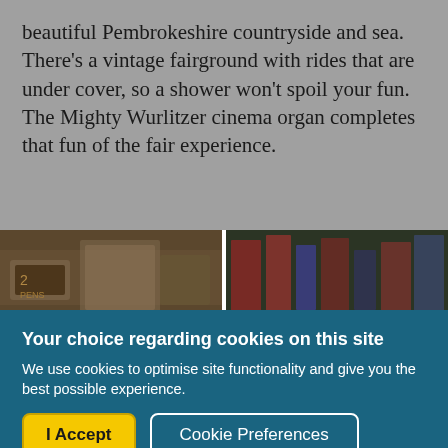beautiful Pembrokeshire countryside and sea. There's a vintage fairground with rides that are under cover, so a shower won't spoil your fun. The Mighty Wurlitzer cinema organ completes that fun of the fair experience.
[Figure (photo): Two side-by-side photographs: left shows vintage fairground items with warm brown tones, right shows colorful fairground rides with red and blue hues]
Your choice regarding cookies on this site
We use cookies to optimise site functionality and give you the best possible experience.